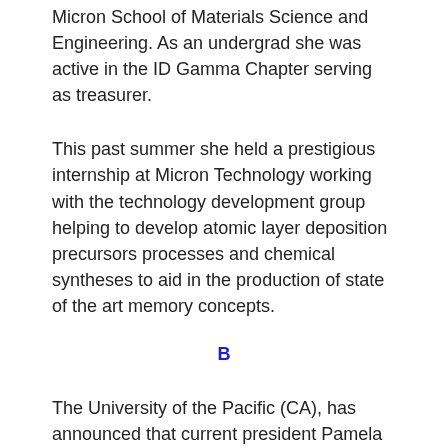Micron School of Materials Science and Engineering. As an undergrad she was active in the ID Gamma Chapter serving as treasurer.
This past summer she held a prestigious internship at Micron Technology working with the technology development group helping to develop atomic layer deposition precursors processes and chemical syntheses to aid in the production of state of the art memory concepts.
B
The University of the Pacific (CA), has announced that current president Pamela A. Eibeck, Ph.D., P.E. (AZ G '79), plans to retire effective July 1, 2019.
Dr. Eibeck has served as Pacific's president since 2009. Her